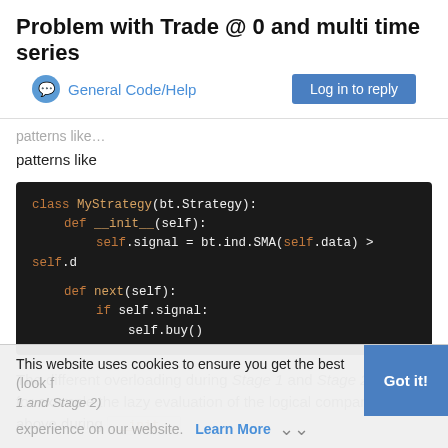Problem with Trade @ 0 and multi time series
General Code/Help
patterns like
[Figure (screenshot): Code block showing Python class MyStrategy(bt.Strategy) with __init__ and next methods using bt.ind.SMA and self.signal for buy logic]
The different overloading during Stage 1 and Stage 2 allows for example the lazy evaluation of the logical comparison seen above during __init__
This website uses cookies to ensure you get the best experience on our website. Learn More